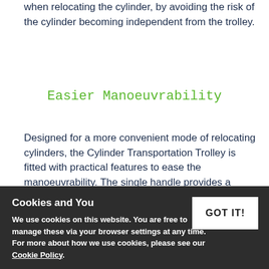when relocating the cylinder, by avoiding the risk of the cylinder becoming independent from the trolley.
Easier Manoeuvrability
Designed for a more convenient mode of relocating cylinders, the Cylinder Transportation Trolley is fitted with practical features to ease the manoeuvrability. The single handle provides a suitable grip for controlling the Transportation Trolley, enabling steadier steering, and in turn increasing the safety of the transportation.
The transportation trolley also features anti-static wheels and stabilising castors. While the two stabilising castors reduce the risk of the trolley tipping during transit, the anti-static
Cookies and You
We use cookies on this website. You are free to manage these via your browser settings at any time. For more about how we use cookies, please see our Cookie Policy.